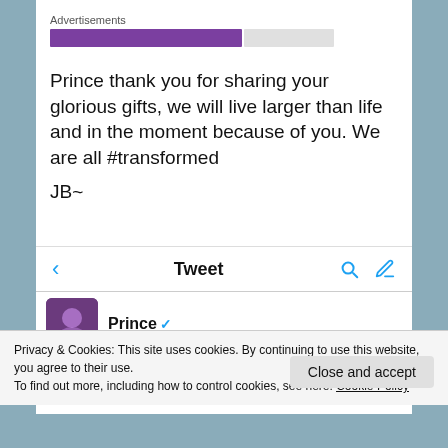[Figure (screenshot): Advertisement bar with purple and gray loading/progress bars]
Prince thank you for sharing your glorious gifts, we will live larger than life and in the moment because of you. We are all #transformed

JB~
[Figure (screenshot): Twitter app navigation bar with back arrow, Tweet title, search and compose icons]
[Figure (screenshot): Twitter profile row showing Prince verified account avatar]
Privacy & Cookies: This site uses cookies. By continuing to use this website, you agree to their use.
To find out more, including how to control cookies, see here: Cookie Policy
Close and accept